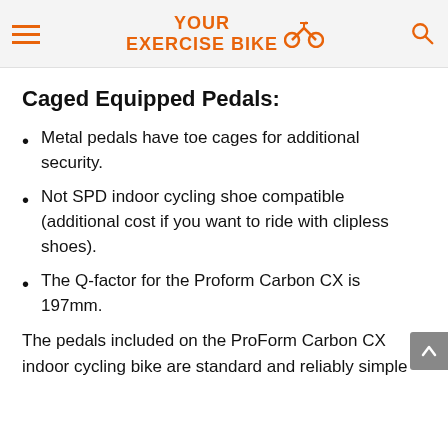YOUR EXERCISE BIKE
Caged Equipped Pedals:
Metal pedals have toe cages for additional security.
Not SPD indoor cycling shoe compatible (additional cost if you want to ride with clipless shoes).
The Q-factor for the Proform Carbon CX is 197mm.
The pedals included on the ProForm Carbon CX indoor cycling bike are standard and reliably simple